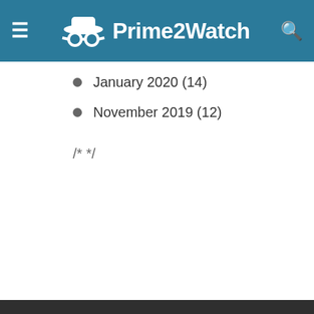Prime2Watch
January 2020 (14)
November 2019 (12)
/* */
[Figure (logo): Prime2Watch logo with bowler hat and glasses icon in gray]
Prime2Watch is a professional blog and informational site with Educational content and material. This site brings huge material and content for you which you can use for learning purposes.
[mks_button size="small" title="Know About Us" style="squared" url="https://prime2watch.com/about/"